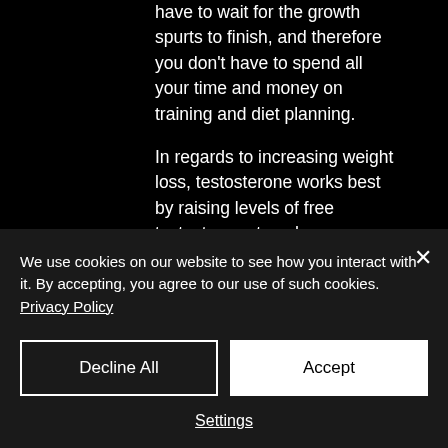have to wait for the growth spurts to finish, and therefore you don't have to spend all your time and money on training and diet planning.
In regards to increasing weight loss, testosterone works best by raising levels of free testosterone to enhance muscle growth. However, it can also be used to lower body fat while at the same time increasing lean body mass and increasing the number of calories burned.
We use cookies on our website to see how you interact with it. By accepting, you agree to our use of such cookies. Privacy Policy
Decline All
Accept
Settings